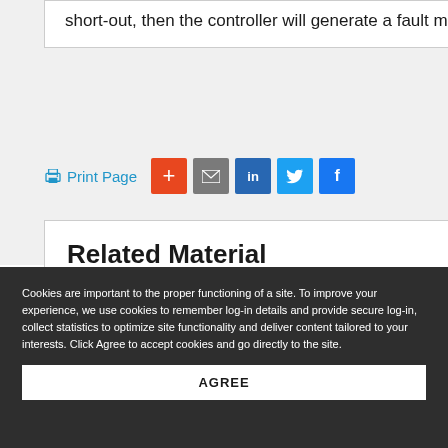short-out, then the controller will generate a fault message.
[Figure (screenshot): Print Page link and social sharing buttons (plus, email, LinkedIn, Twitter, Facebook)]
Related Material
Cookies are important to the proper functioning of a site. To improve your experience, we use cookies to remember log-in details and provide secure log-in, collect statistics to optimize site functionality and deliver content tailored to your interests. Click Agree to accept cookies and go directly to the site.
AGREE